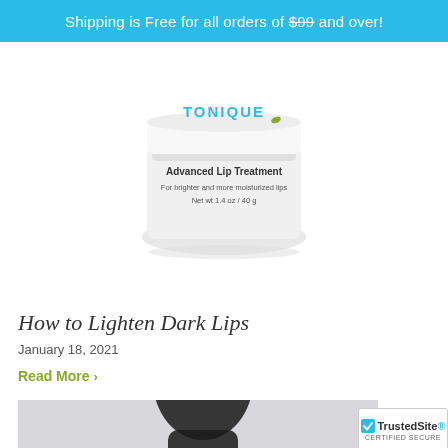Shipping is Free for all orders of $99 and over!
[Figure (photo): A white jar of Tonique Advanced Lip Treatment product. Label reads: Advanced Lip Treatment, For brighter and more moisturized lips, Net wt 1.4 oz / 40 g]
How to Lighten Dark Lips
January 18, 2021
Read More >
[Figure (photo): A young Black woman with curly hair wearing a black off-shoulder top, photographed against a light grey background, smiling slightly.]
[Figure (other): TrustedSite certified secure badge]